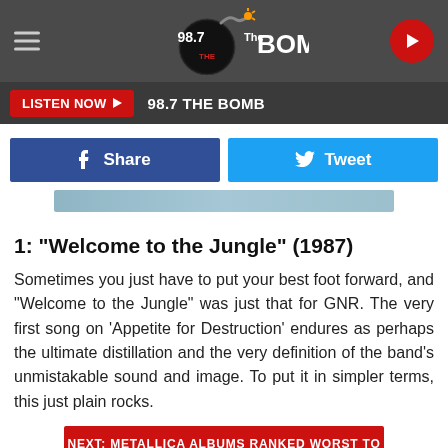[Figure (logo): 98.7 The Bomb radio station logo with bomb icon and navigation header bar]
LISTEN NOW ▶  98.7 THE BOMB
[Figure (other): Social share buttons: Facebook Share and Twitter Tweet]
[Figure (other): Partial image placeholder banner in blue-green tones]
1: "Welcome to the Jungle" (1987)
Sometimes you just have to put your best foot forward, and "Welcome to the Jungle" was just that for GNR. The very first song on 'Appetite for Destruction' endures as perhaps the ultimate distillation and the very definition of the band's unmistakable sound and image. To put it in simpler terms, this just plain rocks.
NEXT: METALLICA ALBUMS RANKED WORST TO BEST